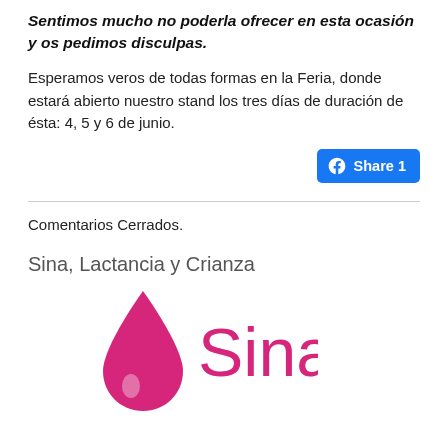Sentimos mucho no poderla ofrecer en esta ocasión y os pedimos disculpas.
Esperamos veros de todas formas en la Feria, donde estará abierto nuestro stand los tres días de duración de ésta: 4, 5 y 6 de junio.
[Figure (other): Facebook Share button with count: Share 1]
Comentarios Cerrados.
Sina, Lactancia y Crianza
[Figure (logo): Sina logo: pink water drop icon with the word Sina in pink text]